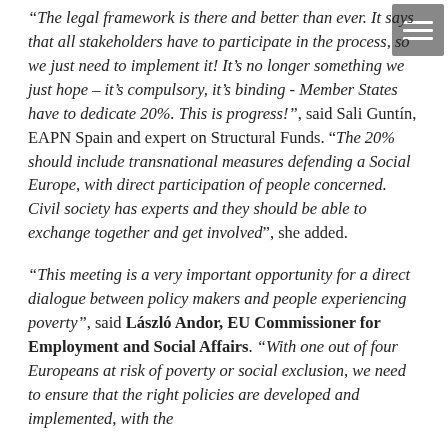“The legal framework is there and better than ever. It says that all stakeholders have to participate in the process, so we just need to implement it! It’s no longer something we just hope – it’s compulsory, it’s binding - Member States have to dedicate 20%. This is progress!”, said Sali Guntín, EAPN Spain and expert on Structural Funds. “The 20% should include transnational measures defending a Social Europe, with direct participation of people concerned. Civil society has experts and they should be able to exchange together and get involved”, she added.
“This meeting is a very important opportunity for a direct dialogue between policy makers and people experiencing poverty”, said László Andor, EU Commissioner for Employment and Social Affairs. “With one out of four Europeans at risk of poverty or social exclusion, we need to ensure that the right policies are developed and implemented, with the